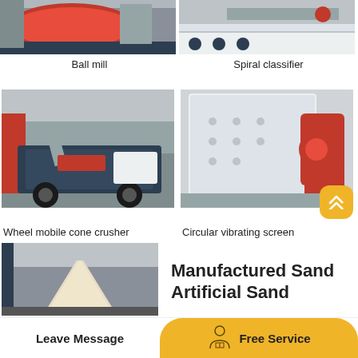[Figure (photo): Ball mill industrial machine - partial view showing red rotating drum and support structure]
Ball mill
[Figure (photo): Spiral classifier machine - partial view showing metal frame and conveyor mechanism]
Spiral classifier
[Figure (photo): Wheel mobile cone crusher on tracked/wheeled platform in industrial warehouse]
Wheel mobile cone crusher
[Figure (photo): Circular vibrating screen - white and red industrial vibrating sieve machine]
Circular vibrating screen
[Figure (photo): Manufactured sand / artificial sand processing equipment - cone shaped machine in warehouse]
Manufactured Sand Artificial Sand
Leave Message   Free Service